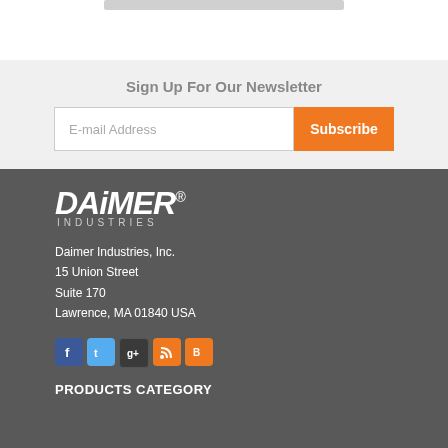Sign Up For Our Newsletter
E-mail Address
Subscribe
[Figure (logo): Daimer Industries logo in white on dark grey background, with stylized italic text 'DAiMER' and registered trademark symbol, and 'INDUSTRIES' in small caps below]
Daimer Industries, Inc.
15 Union Street
Suite 170
Lawrence, MA 01840 USA
[Figure (infographic): Row of social media icons: Facebook (blue), Twitter (light blue), Google+ (dark), RSS (orange), Blogger (orange)]
PRODUCTS CATEGORY